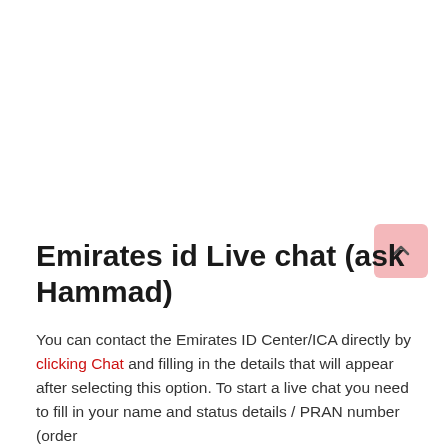Emirates id Live chat (ask Hammad)
You can contact the Emirates ID Center/ICA directly by clicking Chat and filling in the details that will appear after selecting this option. To start a live chat you need to fill in your name and status details / PRAN number (order